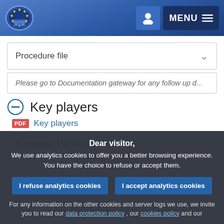European Parliament header with logo and MENU button
Procedure file
Please go to Documentation gateway for any follow up d...
Key players
PDF Key players
European Parliament
Dear visitor, We use analytics cookies to offer you a better browsing experience. You have the choice to refuse or accept them.
I refuse analytics cookies
I accept analytics cookies
For any information on the other cookies and server logs we use, we invite you to read our data protection policy , our cookies policy and our